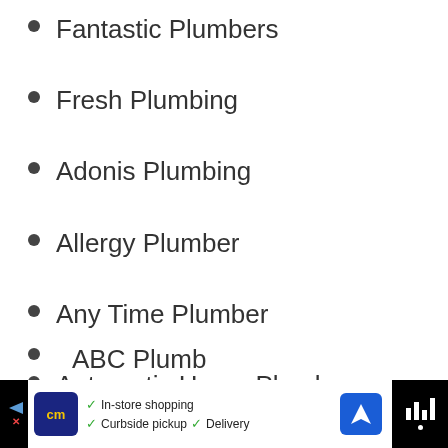Fantastic Plumbers
Fresh Plumbing
Adonis Plumbing
Allergy Plumber
Any Time Plumber
Automatic Home Plumbers
ABC Plumbing (partially visible)
[Figure (screenshot): Bottom advertisement bar with cm logo, In-store shopping, Curbside pickup, Delivery options, navigation icon and Waze icon]